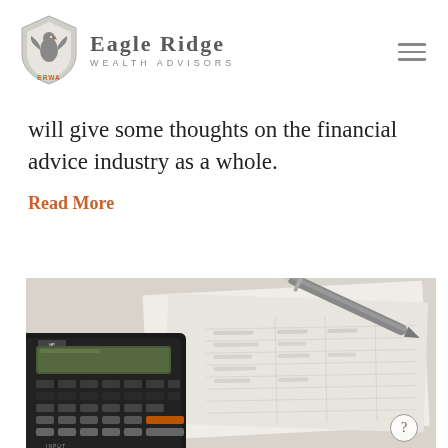[Figure (logo): Eagle Ridge Wealth Advisors logo with shield emblem showing eagle, orange ERWA text, and company name in gray serif font]
will give some thoughts on the financial advice industry as a whole.
Read More
[Figure (photo): Photo of a financial calculator, pen, and financial documents/spreadsheets on a desk]